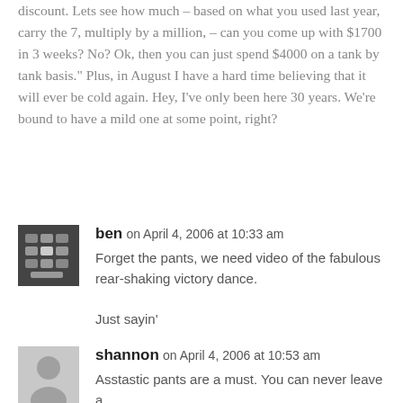discount. Lets see how much – based on what you used last year, carry the 7, multiply by a million, – can you come up with $1700 in 3 weeks? No? Ok, then you can just spend $4000 on a tank by tank basis." Plus, in August I have a hard time believing that it will ever be cold again. Hey, I've only been here 30 years. We're bound to have a mild one at some point, right?
ben on April 4, 2006 at 10:33 am
Forget the pants, we need video of the fabulous rear-shaking victory dance.

Just sayin'
shannon on April 4, 2006 at 10:53 am
Asstastic pants are a must. You can never leave a